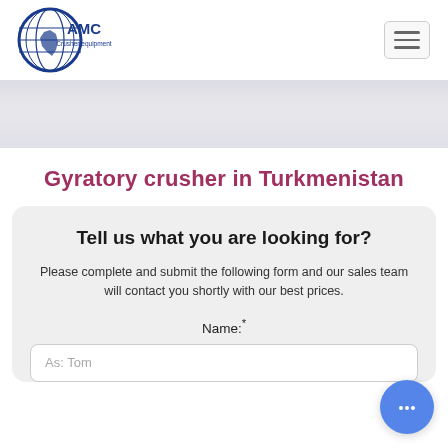[Figure (logo): AMC Crusher equipment logo — blue circle with world map and South America highlighted, text 'AMC' in blue, 'Crusher equipment' in blue below]
[Figure (other): Hamburger menu button — three horizontal lines in a rounded rectangle]
[Figure (other): Gray decorative banner strip]
Gyratory crusher in Turkmenistan
Tell us what you are looking for?
Please complete and submit the following form and our sales team will contact you shortly with our best prices.
Name:*
As: Tom